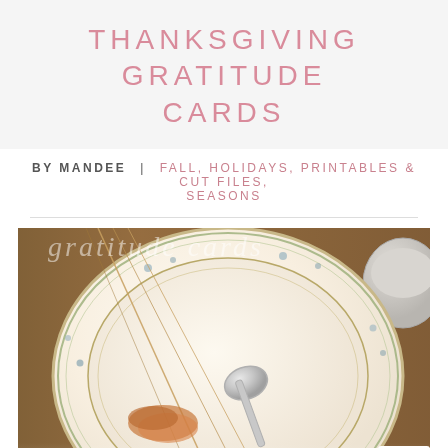THANKSGIVING GRATITUDE CARDS
BY MANDEE  |  FALL, HOLIDAYS, PRINTABLES & CUT FILES, SEASONS
[Figure (photo): Overhead close-up photograph of a decorative china plate setting on a wooden table with a silver spoon, ornamental grasses, and cursive script overlay reading 'gratitude' with a CLOSE button and reCAPTCHA badge overlaid at bottom right.]